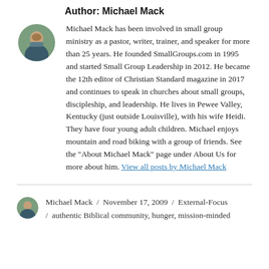Author: Michael Mack
Michael Mack has been involved in small group ministry as a pastor, writer, trainer, and speaker for more than 25 years. He founded SmallGroups.com in 1995 and started Small Group Leadership in 2012. He became the 12th editor of Christian Standard magazine in 2017 and continues to speak in churches about small groups, discipleship, and leadership. He lives in Pewee Valley, Kentucky (just outside Louisville), with his wife Heidi. They have four young adult children. Michael enjoys mountain and road biking with a group of friends. See the "About Michael Mack" page under About Us for more about him. View all posts by Michael Mack
Michael Mack / November 17, 2009 / External-Focus / authentic Biblical community, hunger, mission-minded